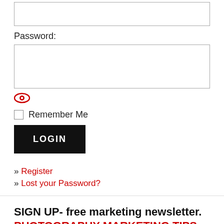[Figure (screenshot): Empty text input box at top of login form]
Password:
[Figure (screenshot): Password input field (empty)]
[Figure (other): Red eye icon for password visibility toggle]
Remember Me
LOGIN
» Register
» Lost your Password?
SIGN UP- free marketing newsletter. PHOTOGRAPHY MARKETING TIPS-How To Build A Six-Figure Income Photographing fairies, weddings & families. Plus advance notice on